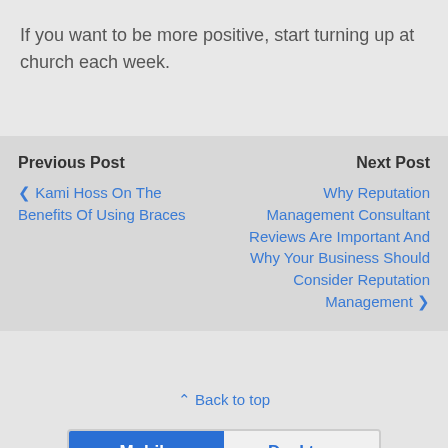If you want to be more positive, start turning up at church each week.
Previous Post
Next Post
‹ Kami Hoss On The Benefits Of Using Braces
Why Reputation Management Consultant Reviews Are Important And Why Your Business Should Consider Reputation Management ›
⌃ Back to top
Mobile   Desktop